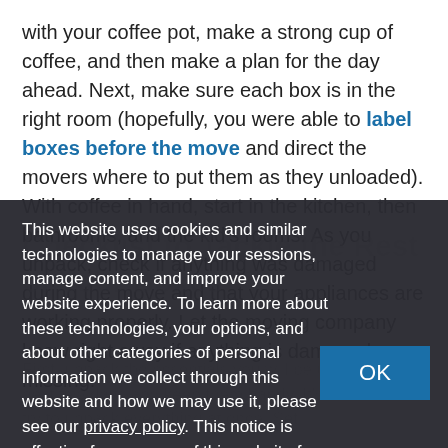with your coffee pot, make a strong cup of coffee, and then make a plan for the day ahead. Next, make sure each box is in the right room (hopefully, you were able to label boxes before the move and direct the movers where to put them as they unloaded). With coffee in hand, start in the kitchen, then bathrooms, and the kid's rooms. As you unpack, check if anything was damaged during the move and that your appliances are working properly. Let the moving company know right away if anything is damaged or missing.
This website uses cookies and similar technologies to manage your sessions, manage content, and improve your website experience. To learn more about these technologies, your options, and about other categories of personal information we collect through this website and how we may use it, please see our privacy policy. This notice is effective for your use of this website for the next 14 days.
Checklist to Tackle the Rest of Your Boxes
First, unpack the essentials you will be using over the next few days and keep them handy. It's pointless to try to unpack everything at once. Set